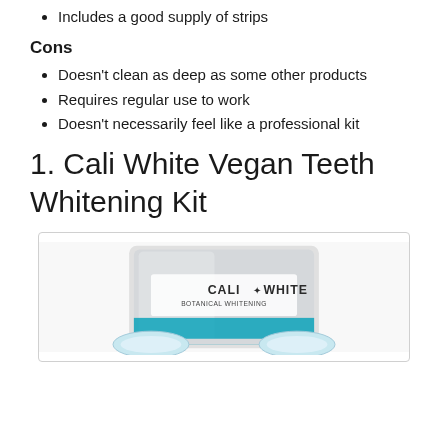Includes a good supply of strips
Cons
Doesn't clean as deep as some other products
Requires regular use to work
Doesn't necessarily feel like a professional kit
1. Cali White Vegan Teeth Whitening Kit
[Figure (photo): Product photo of Cali White Botanical Whitening Kit, showing a white/grey branded package and whitening tray accessories]